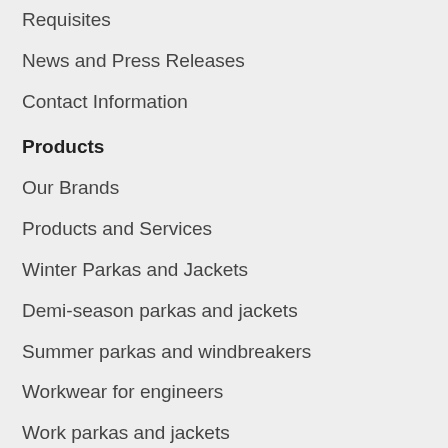Requisites
News and Press Releases
Contact Information
Products
Our Brands
Products and Services
Winter Parkas and Jackets
Demi-season parkas and jackets
Summer parkas and windbreakers
Workwear for engineers
Work parkas and jackets
Corporate clothiong
Customizing